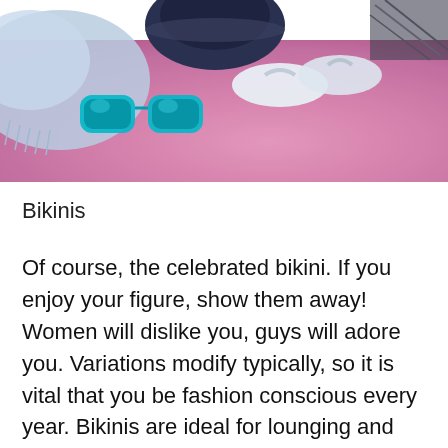[Figure (photo): Beach accessories laid on a pink/purple textured surface: teal sunglasses, white flip-flops, a dark bowl/hat, and a light blue fabric/towel in the background.]
Bikinis
Of course, the celebrated bikini. If you enjoy your figure, show them away! Women will dislike you, guys will adore you. Variations modify typically, so it is vital that you be fashion conscious every year. Bikinis are ideal for lounging and sunlight tanning, are available in a number of colours, patterns and designs. Be